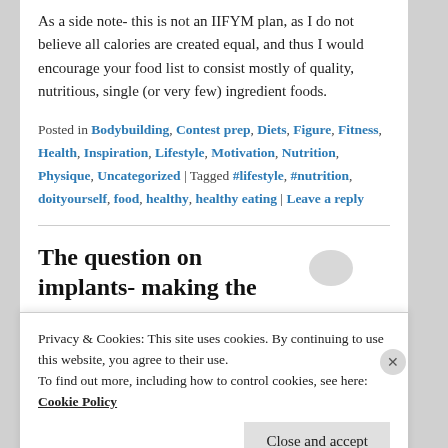As a side note- this is not an IIFYM plan, as I do not believe all calories are created equal, and thus I would encourage your food list to consist mostly of quality, nutritious, single (or very few) ingredient foods.
Posted in Bodybuilding, Contest prep, Diets, Figure, Fitness, Health, Inspiration, Lifestyle, Motivation, Nutrition, Physique, Uncategorized | Tagged #lifestyle, #nutrition, doityourself, food, healthy, healthy eating | Leave a reply
The question on implants- making the
Privacy & Cookies: This site uses cookies. By continuing to use this website, you agree to their use. To find out more, including how to control cookies, see here: Cookie Policy